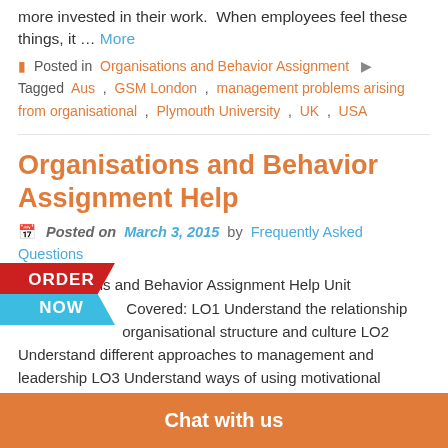more invested in their work. When employees feel these things, it … More
Posted in Organisations and Behavior Assignment Tagged Aus , GSM London , management problems arising from organisational , Plymouth University , UK , USA
Organisations and Behavior Assignment Help
Posted on March 3, 2015 by Frequently Asked Questions
Organisations and Behavior Assignment Help Unit Covered: LO1 Understand the relationship organisational structure and culture LO2 Understand different approaches to management and leadership LO3 Understand ways of using motivational theories in organisations LO4 Understand mechanisms for developing effective teamwork in organisations Scenario Mercury Print & Packaging are experiencing a period of change as the owner MR S. Siddall hands the business over to his 2 sons. Mr ... management s...
[Figure (other): ORDER NOW button badge in red and blue]
Chat with us